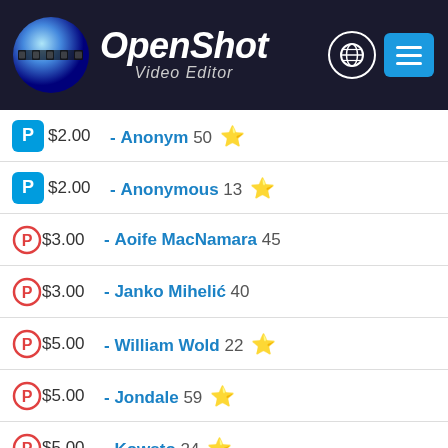[Figure (screenshot): OpenShot Video Editor website header with logo, globe icon and menu button]
$2.00 - Anonym 50 ★
$2.00 - Anonymous 13 ★
$3.00 - Aoife MacNamara 45
$3.00 - Janko Mihelić 40
$5.00 - William Wold 22 ★
$5.00 - Jondale 59 ★
$5.00 - Kowsto 24 ★
$10.00 - Kerry Hatcher 21 ★
$3.00 - Mihaela Ionescu 25
$3.00 - dragon 47